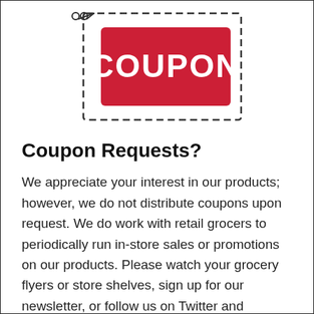[Figure (illustration): Coupon icon: scissors at top-left, dashed border rectangle, red rectangle with white bold text 'COUPON' inside]
Coupon Requests?
We appreciate your interest in our products; however, we do not distribute coupons upon request. We do work with retail grocers to periodically run in-store sales or promotions on our products. Please watch your grocery flyers or store shelves, sign up for our newsletter, or follow us on Twitter and Facebook to...